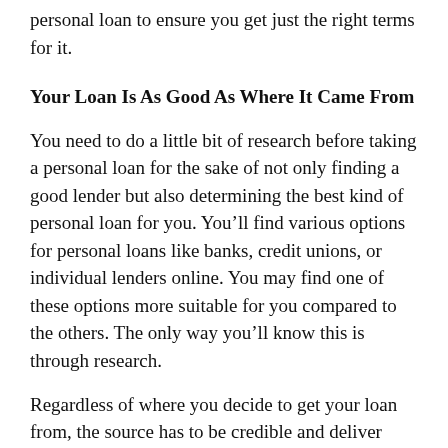personal loan to ensure you get just the right terms for it.
Your Loan Is As Good As Where It Came From
You need to do a little bit of research before taking a personal loan for the sake of not only finding a good lender but also determining the best kind of personal loan for you. You’ll find various options for personal loans like banks, credit unions, or individual lenders online. You may find one of these options more suitable for you compared to the others. The only way you’ll know this is through research.
Regardless of where you decide to get your loan from, the source has to be credible and deliver terms you can deal with. Remember, when in debt, you are a slave to the one you owe. If you make a deal with a malicious party, they will drain your pockets and leave you penniless. As indicated earlier, your goal in taking a loan is to ease the burden on you, not to make it heavier.